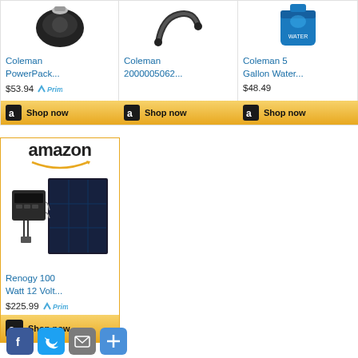[Figure (screenshot): Amazon product card: Coleman PowerPack... product image (black device), price $53.94 with Prime badge, Shop now button]
[Figure (screenshot): Amazon product card: Coleman 2000005062... product image (black hose/cord), Shop now button]
[Figure (screenshot): Amazon product card: Coleman 5 Gallon Water... product image (blue water container), price $48.49, Shop now button]
[Figure (screenshot): Amazon branded product card: Renogy 100 Watt 12 Volt... solar panel kit image, price $225.99 with Prime badge, Shop now button]
[Figure (screenshot): Social share buttons: Facebook, Twitter, Email, Share]